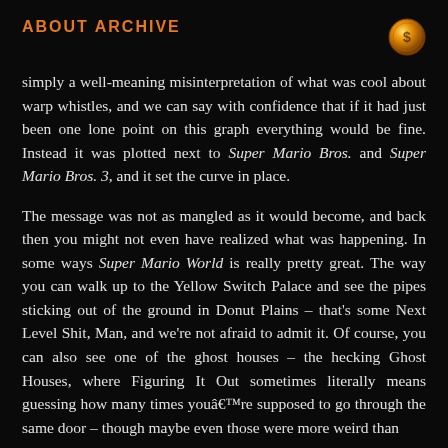ABOUT ARCHIVE
simply a well-meaning misinterpretation of what was cool about warp whistles, and we can say with confidence that if it had just been one lone point on this graph everything would be fine. Instead it was plotted next to Super Mario Bros. and Super Mario Bros. 3, and it set the curve in place.
The message was not as mangled as it would become, and back then you might not even have realized what was happening. In some ways Super Mario World is really pretty great. The way you can walk up to the Yellow Switch Palace and see the pipes sticking out of the ground in Donut Plains – that's some Next Level Shit, Man, and we're not afraid to admit it. Of course, you can also see one of the ghost houses – the hecking Ghost Houses, where Figuring It Out sometimes literally means guessing how many times youâ€™re supposed to go through the same door – though maybe even those were more weird than